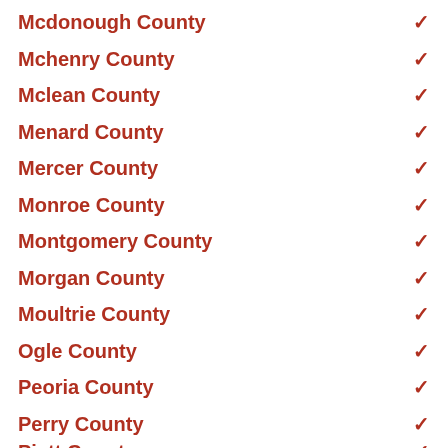Mcdonough County
Mchenry County
Mclean County
Menard County
Mercer County
Monroe County
Montgomery County
Morgan County
Moultrie County
Ogle County
Peoria County
Perry County
Piatt County